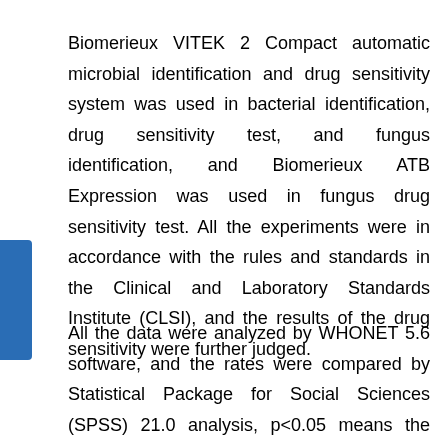Biomerieux VITEK 2 Compact automatic microbial identification and drug sensitivity system was used in bacterial identification, drug sensitivity test, and fungus identification, and Biomerieux ATB Expression was used in fungus drug sensitivity test. All the experiments were in accordance with the rules and standards in the Clinical and Laboratory Standards Institute (CLSI), and the results of the drug sensitivity were further judged.
All the data were analyzed by WHONET 5.6 software, and the rates were compared by Statistical Package for Social Sciences (SPSS) 21.0 analysis, p<0.05 means the difference was statistically